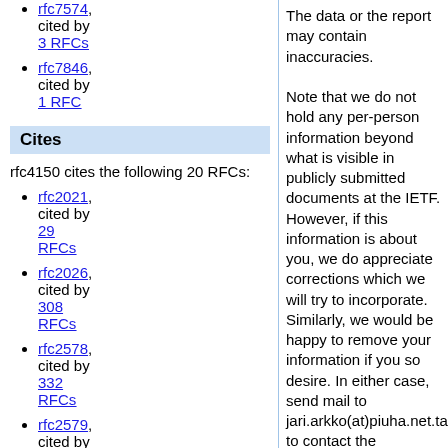rfc7574, cited by 3 RFCs
rfc7846, cited by 1 RFC
Cites
rfc4150 cites the following 20 RFCs:
rfc2021, cited by 29 RFCs
rfc2026, cited by 308 RFCs
rfc2578, cited by 332 RFCs
rfc2579, cited by
The data or the report may contain inaccuracies.

Note that we do not hold any per-person information beyond what is visible in publicly submitted documents at the IETF. However, if this information is about you, we do appreciate corrections which we will try to incorporate. Similarly, we would be happy to remove your information if you so desire. In either case, send mail to jari.arkko(at)piuha.net.takeaway to contact the developer. Please use a subject line that includes the word authorstats. Our privacy policy can be found in here.